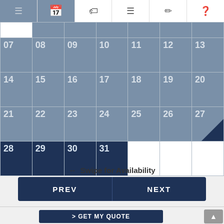[Figure (screenshot): Mobile app navigation bar with icons: hamburger menu, calendar, tag, list, edit, help]
[Figure (table-as-image): Calendar grid showing dates 07-31. Days 07-27 in steel blue (unavailable), days 28-31 in dark navy (selected/available). Day 27 has a dark triangle corner. Empty cells after 31.]
↔ Swipe for Availability
PREV
NEXT
> GET MY QUOTE